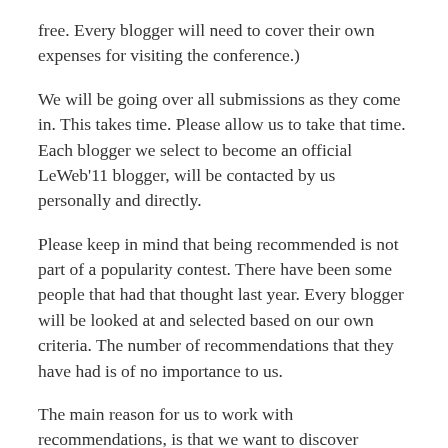free. Every blogger will need to cover their own expenses for visiting the conference.)
We will be going over all submissions as they come in. This takes time. Please allow us to take that time. Each blogger we select to become an official LeWeb'11 blogger, will be contacted by us personally and directly.
Please keep in mind that being recommended is not part of a popularity contest. There have been some people that had that thought last year. Every blogger will be looked at and selected based on our own criteria. The number of recommendations that they have had is of no importance to us.
The main reason for us to work with recommendations, is that we want to discover important bloggers and podcasters that we might not have known of. And to make sure that we do not miss anybody we absolutely